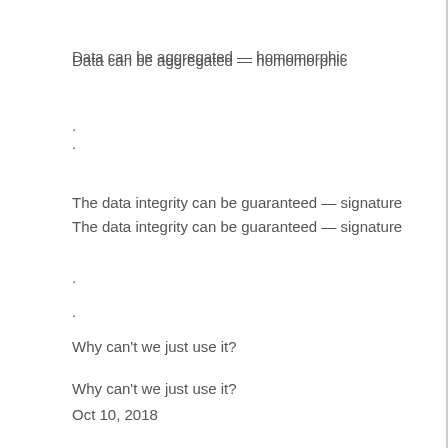Data can be aggregated — homomorphic
·
The data integrity can be guaranteed — signature
·
Why can't we just use it?
Oct 10, 2018
MASS 2018
Page 5
Problem statement p Two small wrinkles: ·
Oct 10, 2018
Complex signature and verification operations
MASS 2018